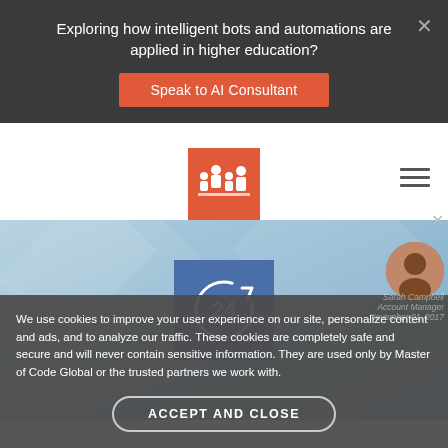Exploring how intelligent bots and automations are applied in higher education?
Speak to AI Consultant
[Figure (logo): Red square logo with white crowd/audience icon]
[Figure (illustration): Blue hero banner area with geometric diamond pattern]
[Figure (other): Blue square icon with circular arrow and 24 in center representing 24/7 service]
We use cookies to improve your user experience on our site, personalize content and ads, and to analyze our traffic. These cookies are completely safe and secure and will never contain sensitive information. They are used only by Master of Code Global or the trusted partners we work with.
ACCEPT AND CLOSE
Sarah Campbell
Account Manager
November 01, 2017